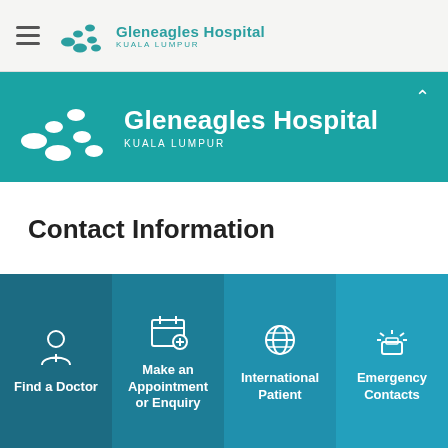Gleneagles Hospital KUALA LUMPUR
[Figure (logo): Gleneagles Hospital Kuala Lumpur logo on teal background]
Contact Information
[Figure (infographic): Bottom navigation bar with four buttons: Find a Doctor, Make an Appointment or Enquiry, International Patient, Emergency Contacts]